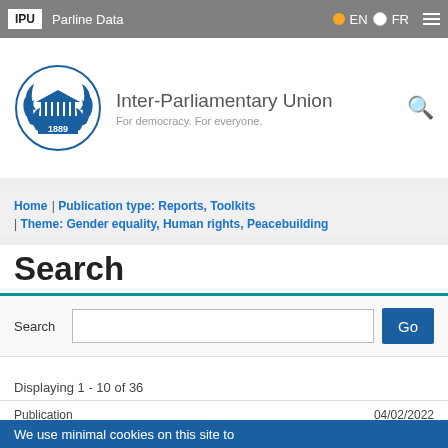IPU | Parline Data | EN | FR
[Figure (logo): Inter-Parliamentary Union logo with blue laurel wreath and building icon, year 1889]
Inter-Parliamentary Union
For democracy. For everyone.
Home | Publication type: Reports, Toolkits | Theme: Gender equality, Human rights, Peacebuilding
Search
Search  Go
Displaying 1 - 10 of 36
Publication
We use minimal cookies on this site to